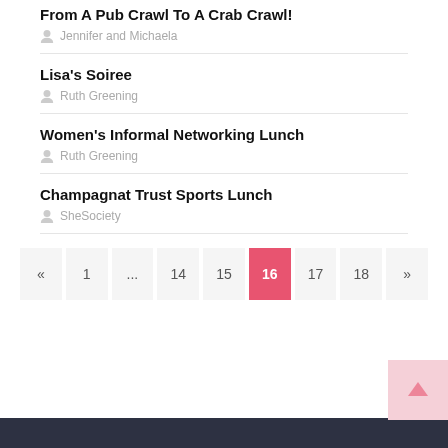From A Pub Crawl To A Crab Crawl!
Jennifer and Michaela
Lisa's Soiree
Ruth Greening
Women's Informal Networking Lunch
Ruth Greening
Champagnat Trust Sports Lunch
SheSociety
« 1 ... 14 15 16 17 18 »